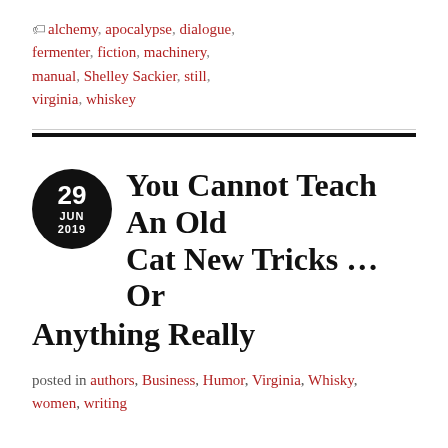🏷 alchemy, apocalypse, dialogue, fermenter, fiction, machinery, manual, Shelley Sackier, still, virginia, whiskey
You Cannot Teach An Old Cat New Tricks … Or Anything Really
posted in authors, Business, Humor, Virginia, Whisky, women, writing